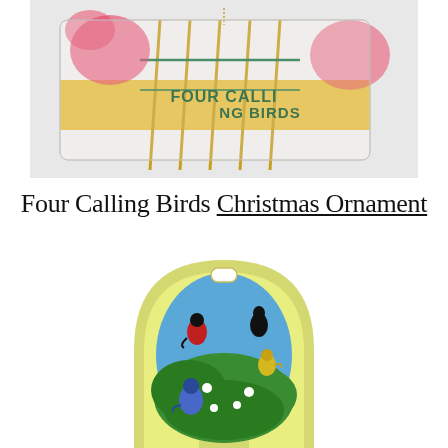[Figure (photo): A plastic-wrapped rectangular ornament package labeled 'FOUR CALLING BIRDS' with a golden birdcage and red poinsettia design visible through the clear packaging.]
Four Calling Birds Christmas Ornament
[Figure (photo): A Christmas ornament card showing four colorful calling birds (a black and red bird, two smaller yellow/green birds, and a bluebird) perched on leafy white-flowered branches against a blue sky background. The card has a yellow arch-shaped border with a hanging slot at the top.]